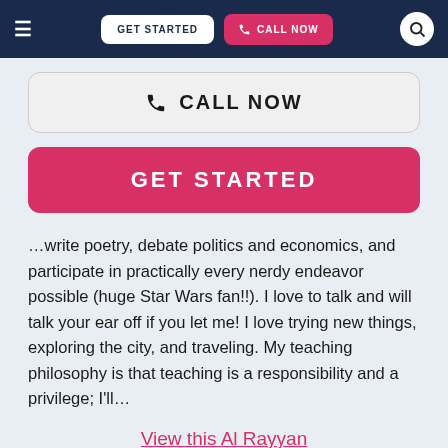≡  GET STARTED  📞 CALL NOW  🔍
[Figure (screenshot): Large 'CALL NOW' button with phone icon, light gray background with border]
[Figure (screenshot): Large 'GET STARTED' button with pink/magenta background]
…write poetry, debate politics and economics, and participate in practically every nerdy endeavor possible (huge Star Wars fan!!). I love to talk and will talk your ear off if you let me! I love trying new things, exploring the city, and traveling. My teaching philosophy is that teaching is a responsibility and a privilege; I'll…
View this Al Rayyan